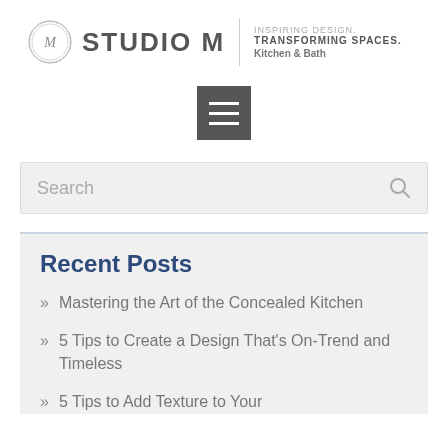STUDIO M — INSPIRING DESIGN. TRANSFORMING SPACES. Kitchen & Bath
[Figure (screenshot): Hamburger menu icon — three horizontal white lines on a dark grey square background]
Search
Recent Posts
Mastering the Art of the Concealed Kitchen
5 Tips to Create a Design That's On-Trend and Timeless
5 Tips to Add Texture to Your